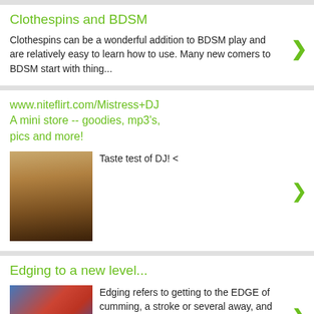Clothespins and BDSM
Clothespins can be a wonderful addition to BDSM play and are relatively easy to learn how to use. Many new comers to BDSM start with thing...
www.niteflirt.com/Mistress+DJ
A mini store -- goodies, mp3's, pics and more!
Taste test of DJ! <
[Figure (photo): Photo of a woman with long blonde hair, cropped at the neck and shoulders]
Edging to a new level...
[Figure (photo): Photo of a man with medium-length hair wearing a red shirt]
Edging refers to getting to the EDGE of cumming, a stroke or several away, and then staying there for a while. It goes by many names: EDGI...